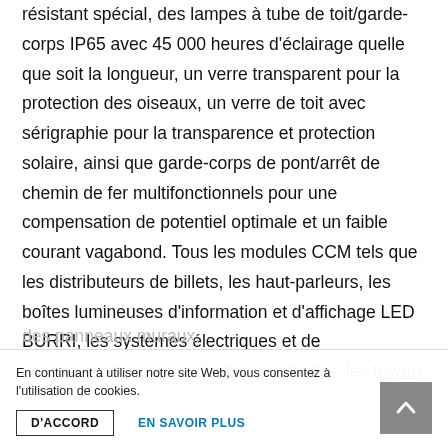résistant spécial, des lampes à tube de toit/garde-corps IP65 avec 45 000 heures d'éclairage quelle que soit la longueur, un verre transparent pour la protection des oiseaux, un verre de toit avec sérigraphie pour la transparence et protection solaire, ainsi que garde-corps de pont/arrêt de chemin de fer multifonctionnels pour une compensation de potentiel optimale et un faible courant vagabond. Tous les modules CCM tels que les distributeurs de billets, les haut-parleurs, les boîtes lumineuses d'information et d'affichage LED BURRI, les systèmes électriques et de communication, les poubelles pivotantes, les tuyaux
des panneaux muraux.
En continuant à utiliser notre site Web, vous consentez à l'utilisation de cookies.